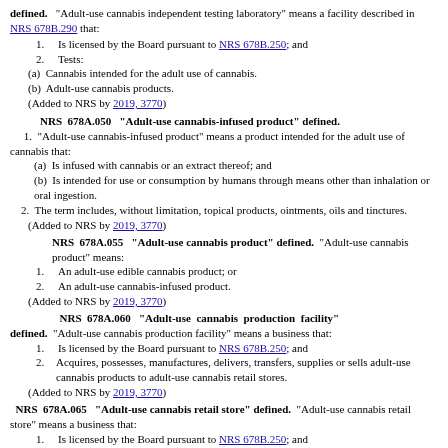defined. "Adult-use cannabis independent testing laboratory" means a facility described in NRS 678B.290 that:
1. Is licensed by the Board pursuant to NRS 678B.250; and
2. Tests:
(a) Cannabis intended for the adult use of cannabis.
(b) Adult-use cannabis products.
(Added to NRS by 2019, 3770)
NRS 678A.050 "Adult-use cannabis-infused product" defined.
1. "Adult-use cannabis-infused product" means a product intended for the adult use of cannabis that:
(a) Is infused with cannabis or an extract thereof; and
(b) Is intended for use or consumption by humans through means other than inhalation or oral ingestion.
2. The term includes, without limitation, topical products, ointments, oils and tinctures.
(Added to NRS by 2019, 3770)
NRS 678A.055 "Adult-use cannabis product" defined. "Adult-use cannabis product" means:
1. An adult-use edible cannabis product; or
2. An adult-use cannabis-infused product.
(Added to NRS by 2019, 3770)
NRS 678A.060 "Adult-use cannabis production facility" defined. "Adult-use cannabis production facility" means a business that:
1. Is licensed by the Board pursuant to NRS 678B.250; and
2. Acquires, possesses, manufactures, delivers, transfers, supplies or sells adult-use cannabis products to adult-use cannabis retail stores.
(Added to NRS by 2019, 3770)
NRS 678A.065 "Adult-use cannabis retail store" defined. "Adult-use cannabis retail store" means a business that:
1. Is licensed by the Board pursuant to NRS 678B.250; and